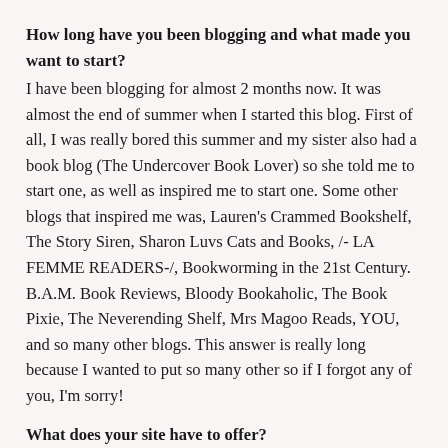How long have you been blogging and what made you want to start?
I have been blogging for almost 2 months now. It was almost the end of summer when I started this blog. First of all, I was really bored this summer and my sister also had a book blog (The Undercover Book Lover) so she told me to start one, as well as inspired me to start one. Some other blogs that inspired me was, Lauren's Crammed Bookshelf, The Story Siren, Sharon Luvs Cats and Books, /- LA FEMME READERS-/, Bookworming in the 21st Century. B.A.M. Book Reviews, Bloody Bookaholic, The Book Pixie, The Neverending Shelf, Mrs Magoo Reads, YOU, and so many other blogs. This answer is really long because I wanted to put so many other so if I forgot any of you, I'm sorry!
What does your site have to offer?
My site is a book blog, I have book reviews, author interviews, IMM, Moody Monday (a new meme my sister and I thought of) and contests. Right now I have a contest to win a hardback copy of Cleopatra's Daughter by Michelle Moran and an ancient roman coin to one lucky winner! So all those historical fans out there should join this contest. It ends on Sept. 22, so I hope all of you